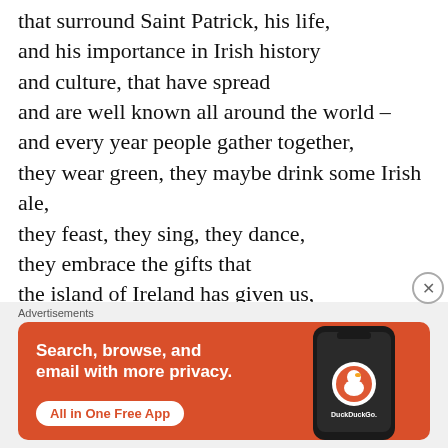that surround Saint Patrick, his life, and his importance in Irish history and culture, that have spread and are well known all around the world – and every year people gather together, they wear green, they maybe drink some Irish ale, they feast, they sing, they dance, they embrace the gifts that the island of Ireland has given us, and people remember the apostle of Ireland, Saint Patrick, on the day of his death
[Figure (other): DuckDuckGo advertisement banner: orange/red background with white text 'Search, browse, and email with more privacy.' and a white button 'All in One Free App' and a phone graphic with DuckDuckGo logo]